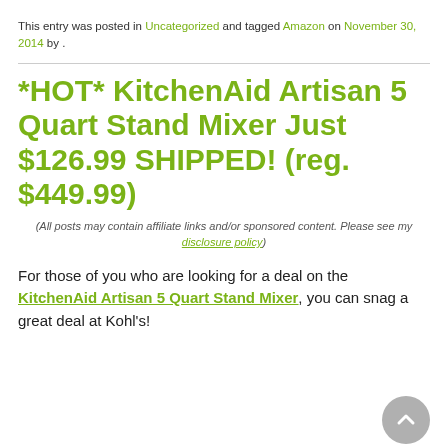This entry was posted in Uncategorized and tagged Amazon on November 30, 2014 by .
*HOT* KitchenAid Artisan 5 Quart Stand Mixer Just $126.99 SHIPPED! (reg. $449.99)
(All posts may contain affiliate links and/or sponsored content. Please see my disclosure policy)
For those of you who are looking for a deal on the KitchenAid Artisan 5 Quart Stand Mixer, you can snag a great deal at Kohl's!